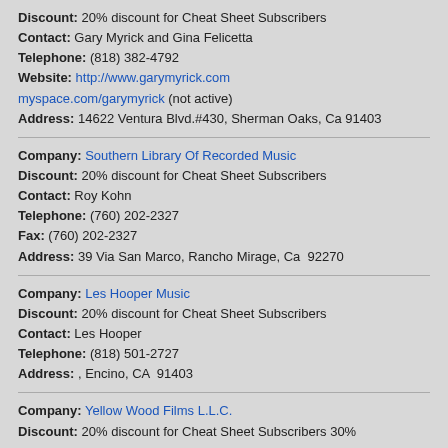Discount: 20% discount for Cheat Sheet Subscribers
Contact: Gary Myrick and Gina Felicetta
Telephone: (818) 382-4792
Website: http://www.garymyrick.com
myspace.com/garymyrick (not active)
Address: 14622 Ventura Blvd.#430, Sherman Oaks, Ca 91403
Company: Southern Library Of Recorded Music
Discount: 20% discount for Cheat Sheet Subscribers
Contact: Roy Kohn
Telephone: (760) 202-2327
Fax: (760) 202-2327
Address: 39 Via San Marco, Rancho Mirage, Ca  92270
Company: Les Hooper Music
Discount: 20% discount for Cheat Sheet Subscribers
Contact: Les Hooper
Telephone: (818) 501-2727
Address: , Encino, CA  91403
Company: Yellow Wood Films L.L.C.
Discount: 20% discount for Cheat Sheet Subscribers 30%